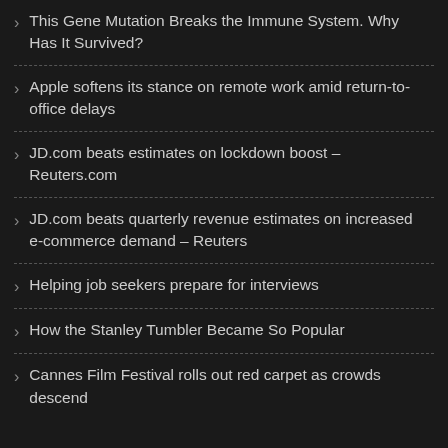This Gene Mutation Breaks the Immune System. Why Has It Survived?
Apple softens its stance on remote work amid return-to-office delays
JD.com beats estimates on lockdown boost – Reuters.com
JD.com beats quarterly revenue estimates on increased e-commerce demand – Reuters
Helping job seekers prepare for interviews
How the Stanley Tumbler Became So Popular
Cannes Film Festival rolls out red carpet as crowds descend for 75th anniversary – Reuters